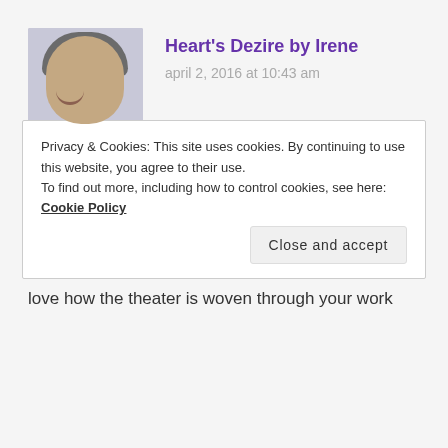[Figure (photo): Avatar photo of a middle-aged woman with short gray hair, smiling, wearing a purple top]
Heart's Dezire by Irene
april 2, 2016 at 10:43 am
Great blog post Jeannette and a sweet line you've created. Nice work.
★ Like
Reply
Privacy & Cookies: This site uses cookies. By continuing to use this website, you agree to their use.
To find out more, including how to control cookies, see here: Cookie Policy
Close and accept
love how the theater is woven through your work